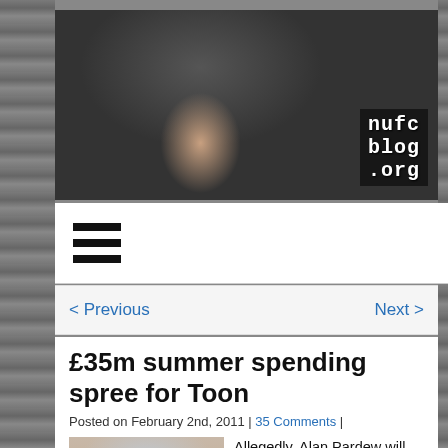[Figure (photo): NUFC Blog banner image showing angry Newcastle United fans in black and white scarves with fists raised, with the nufc blog .org logo overlaid in the top right corner]
≡ (hamburger menu icon)
< Previous    Next >
£35m summer spending spree for Toon
Posted on February 2nd, 2011 | 35 Comments |
[Figure (photo): Headshot photo of Alan Pardew, a middle-aged man with short grey-blond hair]
Allegedly, Alan Pardew will get all the money made from the Andy Carroll sale to spend on rebuilding the team in the summer.